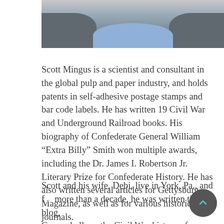[Figure (photo): Cropped photo of a man in a grey jacket and light blue shirt, visible from the shoulders/neck area upward, partial view at top of page.]
Scott Mingus is a scientist and consultant in the global pulp and paper industry, and holds patents in self-adhesive postage stamps and bar code labels. He has written 19 Civil War and Underground Railroad books. His biography of Confederate General William “Extra Billy” Smith won multiple awards, including the Dr. James I. Robertson Jr. Literary Prize for Confederate History. He has also written several articles for Gettysburg Magazine, as well as for various historical journals.
Scott and his wife, Debi, live in York, Pa., and for more than a decade, he was written this blog, Cannonball, on the Civil War history of York...